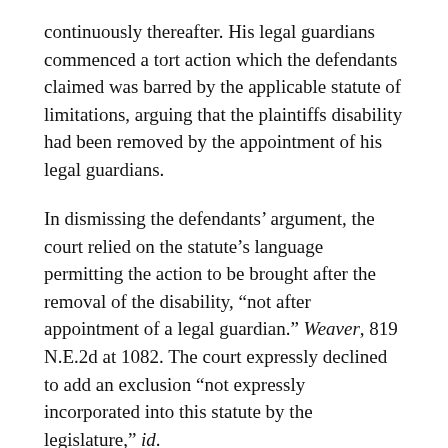continuously thereafter. His legal guardians commenced a tort action which the defendants claimed was barred by the applicable statute of limitations, arguing that the plaintiffs disability had been removed by the appointment of his legal guardians.
In dismissing the defendants' argument, the court relied on the statute's language permitting the action to be brought after the removal of the disability, "not after appointment of a legal guardian." Weaver, 819 N.E.2d at 1082. The court expressly declined to add an exclusion "not expressly incorporated into this statute by the legislature," id. at 1083, and noted that "Ohio's General Assembly could have provided that a disability is removed upon the appointment of a guardian, but to date it